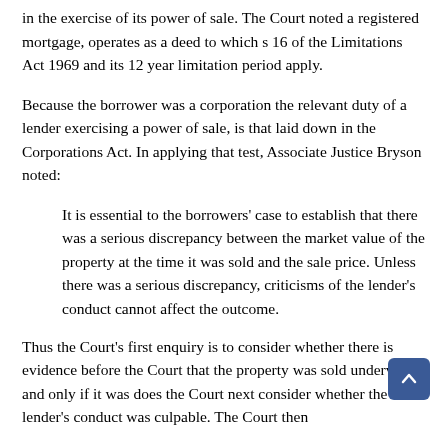in the exercise of its power of sale. The Court noted a registered mortgage, operates as a deed to which s 16 of the Limitations Act 1969 and its 12 year limitation period apply.
Because the borrower was a corporation the relevant duty of a lender exercising a power of sale, is that laid down in the Corporations Act. In applying that test, Associate Justice Bryson noted:
It is essential to the borrowers' case to establish that there was a serious discrepancy between the market value of the property at the time it was sold and the sale price. Unless there was a serious discrepancy, criticisms of the lender's conduct cannot affect the outcome.
Thus the Court's first enquiry is to consider whether there is evidence before the Court that the property was sold undervalue, and only if it was does the Court next consider whether the lender's conduct was culpable. The Court then